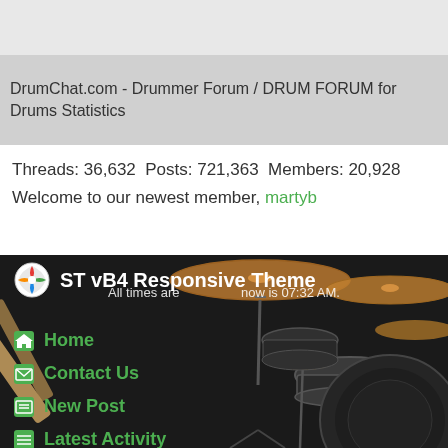DrumChat.com - Drummer Forum / DRUM FORUM for Drums Statistics
Threads: 36,632  Posts: 721,363  Members: 20,928
Welcome to our newest member, martyb
[Figure (photo): Drum kit photo with cymbals and drums on dark background, with text overlay: All times are ... now is 07:32 AM.]
ST vB4 Responsive Theme
Home
Contact Us
New Post
Latest Activity